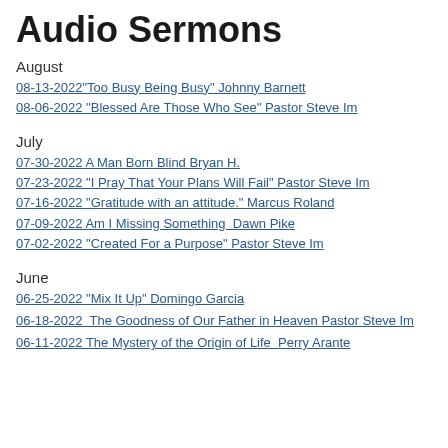Audio Sermons
August
08-13-2022"Too Busy Being Busy" Johnny Barnett
08-06-2022 "Blessed Are Those Who See" Pastor Steve Im
July
07-30-2022 A Man Born Blind Bryan H.
07-23-2022 "I Pray That Your Plans Will Fail" Pastor Steve Im
07-16-2022 "Gratitude with an attitude." Marcus Roland
07-09-2022 Am I Missing Something  Dawn Pike
07-02-2022 "Created For a Purpose" Pastor Steve Im
June
06-25-2022 "Mix It Up" Domingo Garcia
06-18-2022  The Goodness of Our Father in Heaven Pastor Steve Im
06-11-2022 The Mystery of the Origin of Life  Perry Arante